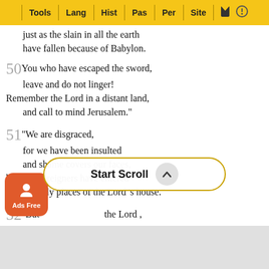Tools | Lang | Hist | Pas | Per | Site
just as the slain in all the earth have fallen because of Babylon.
50 You who have escaped the sword, leave and do not linger! Remember the Lord in a distant land, and call to mind Jerusalem."
51 "We are disgraced, for we have been insulted and shame covers our faces, because foreigners have entered the holy places of the Lord 's house."
52 "But [day] [de_] the Lord , "when I will punish her idols, and throughout her land